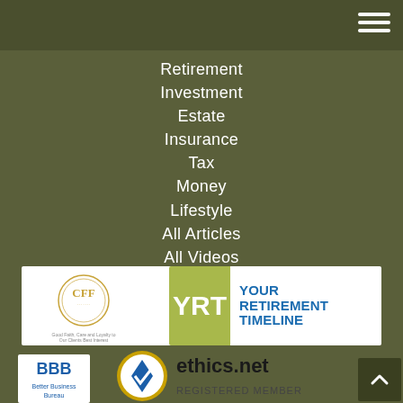Navigation menu header bar
Retirement
Investment
Estate
Insurance
Tax
Money
Lifestyle
All Articles
All Videos
All Calculators
All Presentations
[Figure (logo): CFF - Certified Financial Fiduciary logo with circular emblem and text 'Good Faith, Care and Loyalty to Our Clients Best Interest']
[Figure (logo): YRT - Your Retirement Timeline logo with green block and blue text]
[Figure (logo): BBB Better Business Bureau logo]
[Figure (logo): ethics.net Registered Member badge with checkmark]